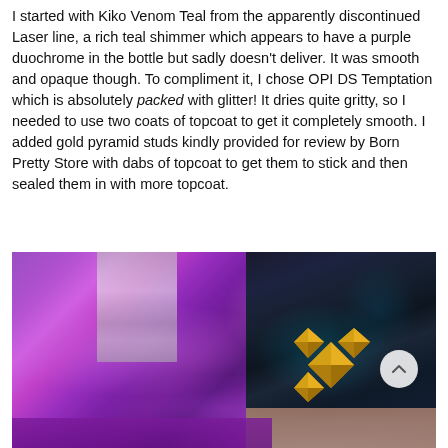I started with Kiko Venom Teal from the apparently discontinued Laser line, a rich teal shimmer which appears to have a purple duochrome in the bottle but sadly doesn't deliver. It was smooth and opaque though. To compliment it, I chose OPI DS Temptation which is absolutely packed with glitter! It dries quite gritty, so I needed to use two coats of topcoat to get it completely smooth. I added gold pyramid studs kindly provided for review by Born Pretty Store with dabs of topcoat to get them to stick and then sealed them in with more topcoat.
[Figure (photo): Close-up photo of nail polish bottles and decorated nails. On the left is a purple glitter nail polish bottle with shimmering purple/pink glitter. On the right is a dark teal nail with gold pyramid studs arranged in a cross/flower pattern. There is a metallic silver surface in the background.]